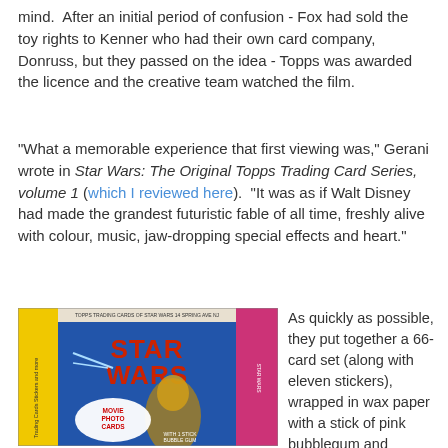mind.  After an initial period of confusion - Fox had sold the toy rights to Kenner who had their own card company, Donruss, but they passed on the idea - Topps was awarded the licence and the creative team watched the film.
"What a memorable experience that first viewing was," Gerani wrote in Star Wars: The Original Topps Trading Card Series, volume 1 (which I reviewed here).  "It was as if Walt Disney had made the grandest futuristic fable of all time, freshly alive with colour, music, jaw-dropping special effects and heart."
[Figure (photo): Star Wars Topps trading card wax pack wrapper featuring C-3PO, X-Wing fighter, and 'MOVIE PHOTO CARDS WITH 1 STICK BUBBLE GUM' text]
As quickly as possible, they put together a 66-card set (along with eleven stickers), wrapped in wax paper with a stick of pink bubblegum and